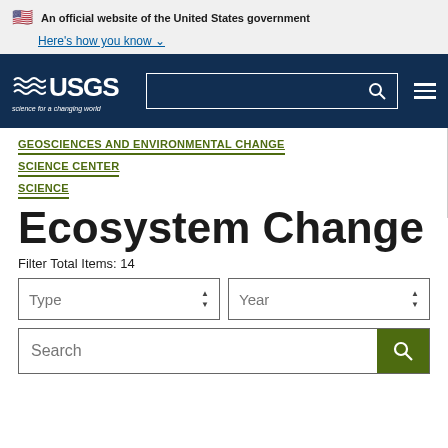An official website of the United States government Here's how you know
[Figure (logo): USGS logo with navigation bar, search box, and hamburger menu on dark navy background. Logo reads 'USGS science for a changing world']
GEOSCIENCES AND ENVIRONMENTAL CHANGE
SCIENCE CENTER
SCIENCE
Ecosystem Change
Filter Total Items: 14
Type dropdown | Year dropdown
Search